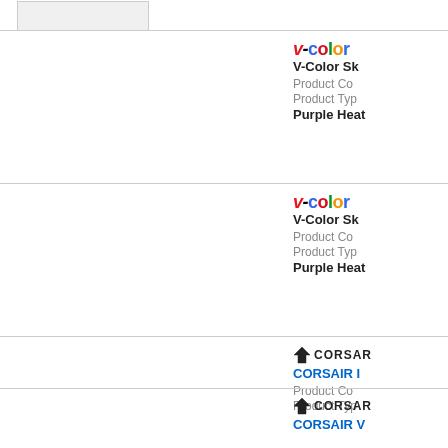[Figure (other): Partial product image at top (cropped)]
[Figure (logo): V-color logo (red V, colorful letters)]
V-Color Sk
Product Co
Product Typ
Purple Heat
[Figure (logo): V-color logo (red V, colorful letters)]
V-Color Sk
Product Co
Product Typ
Purple Heat
[Figure (logo): CORSAIR logo with sail icon]
CORSAIR I
Product Co
Product Typ
[Figure (logo): CORSAIR logo with sail icon]
CORSAIR V